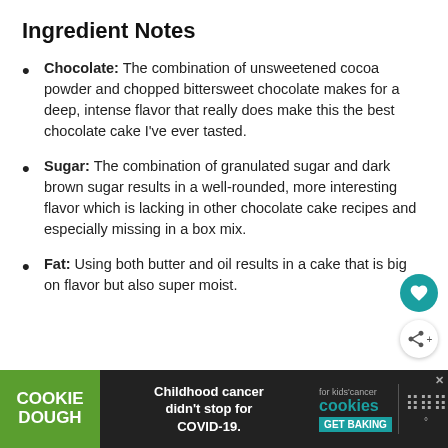Ingredient Notes
Chocolate: The combination of unsweetened cocoa powder and chopped bittersweet chocolate makes for a deep, intense flavor that really does make this the best chocolate cake I've ever tasted.
Sugar: The combination of granulated sugar and dark brown sugar results in a well-rounded, more interesting flavor which is lacking in other chocolate cake recipes and especially missing in a box mix.
Fat: Using both butter and oil results in a cake that is big on flavor but also super moist.
[Figure (other): Advertisement banner at bottom: Cookie Dough brand ad with text 'Childhood cancer didn't stop for COVID-19. GET BAKING' with cookies for kids cancer logo and WW logo.]